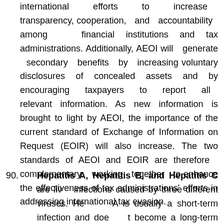international efforts to increase transparency, cooperation, and accountability among financial institutions and tax administrations. Additionally, AEOI will generate secondary benefits by increasing voluntary disclosures of concealed assets and by encouraging taxpayers to report all relevant information. As new information is brought to light by AEOI, the importance of the current standard of Exchange of Information on Request (EOIR) will also increase. The two standards of AEOI and EOIR are therefore complementary, working together to enhance the effectiveness of tax administrations' efforts in addressing international tax evasion.
90. Hepatitis A, Hepatitis B, and Hepatitis C are liver infections caused by three different viruses. Hepatitis A is usually a short-term infection and does not become a long-term infection. Hepatitis B and hepatitis